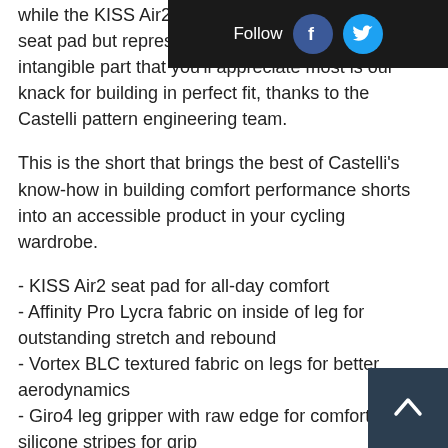[Figure (other): Follow button with Facebook and Twitter social media icons on dark background bar in top right corner]
while the KISS Air2 seat pad has most of our top seat pad but represents maximum value. The intangible part that you'll appreciate most is our knack for building in perfect fit, thanks to the Castelli pattern engineering team.
This is the short that brings the best of Castelli's know-how in building comfort performance shorts into an accessible product in your cycling wardrobe.
- KISS Air2 seat pad for all-day comfort
- Affinity Pro Lycra fabric on inside of leg for outstanding stretch and rebound
- Vortex BLC textured fabric on legs for better aerodynamics
- Giro4 leg gripper with raw edge for comfort and silicone stripes for grip
- Flat-lock stitching
- Reflective detailing on back
- Moisture performance fabric breathability
[Figure (other): Back to top arrow button, dark navy/charcoal square with white upward chevron arrow]